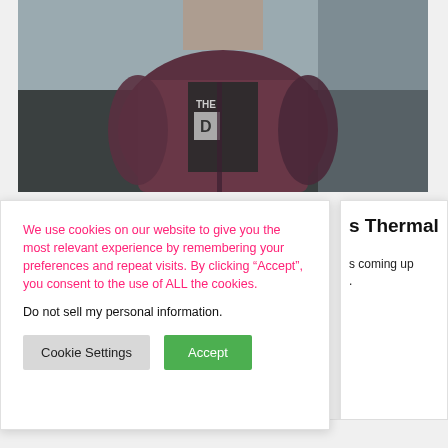[Figure (photo): Photo of a person wearing a dark bomber jacket and graphic t-shirt, partially visible from torso up, with dark/teal background]
We use cookies on our website to give you the most relevant experience by remembering your preferences and repeat visits. By clicking “Accept”, you consent to the use of ALL the cookies.
Do not sell my personal information.
Cookie Settings
Accept
s Thermal
s coming up